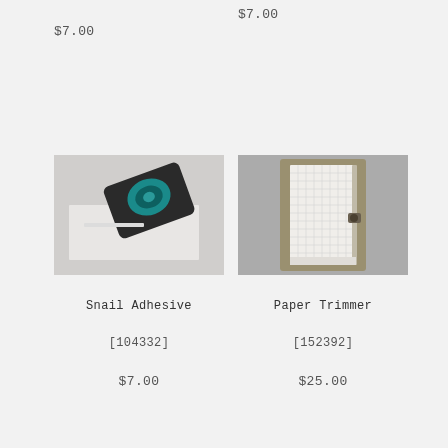$7.00
$7.00
[Figure (photo): Snail Adhesive product photo showing a tape runner adhesive dispenser on a light surface]
Snail Adhesive
[104332]
$7.00
[Figure (photo): Paper Trimmer product photo showing a paper trimmer with grid lines on a gray background]
Paper Trimmer
[152392]
$25.00